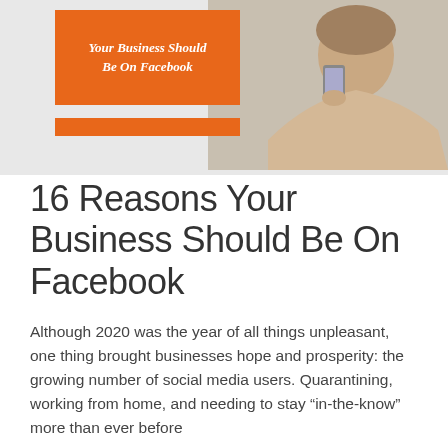[Figure (illustration): Book cover graphic showing an orange rectangle with italic white text 'Your Business Should Be On Facebook', an orange horizontal bar below it, and a woman holding a smartphone on the right side, against a light gray background.]
16 Reasons Your Business Should Be On Facebook
Although 2020 was the year of all things unpleasant, one thing brought businesses hope and prosperity: the growing number of social media users. Quarantining, working from home, and needing to stay “in-the-know” more than ever before